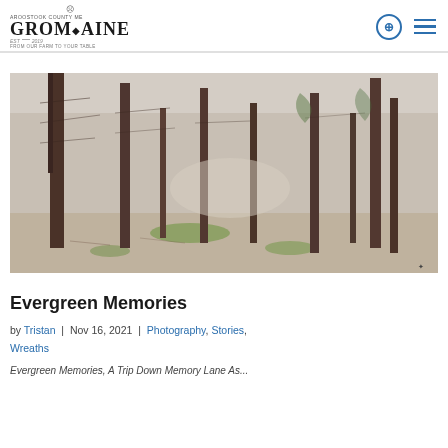GROMAINE — Aroostook County ME — From Our Farm To Your Table
[Figure (photo): Forest of pine/evergreen trees in winter with sparse ground cover and patches of green moss, muted earthy tones]
Evergreen Memories
by Tristan | Nov 16, 2021 | Photography, Stories, Wreaths
Evergreen Memories, A Trip Down Memory Lane As...